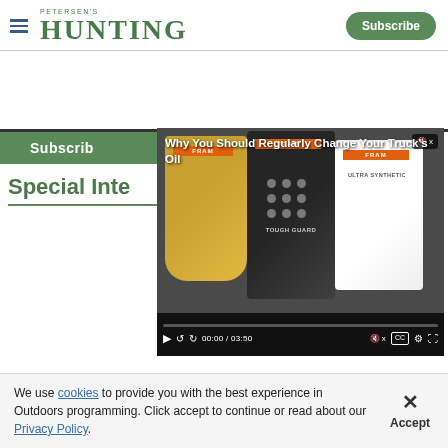PETERSEN'S HUNTING | Subscribe
[Figure (screenshot): Video player overlay showing FRAM oil filters with title 'Why You Should Regularly Change Your Truck&#39;s Oil', timestamp 00:00 / 03:50]
Special Inte
We use cookies to provide you with the best experience in Outdoors programming. Click accept to continue or read about our Privacy Policy.